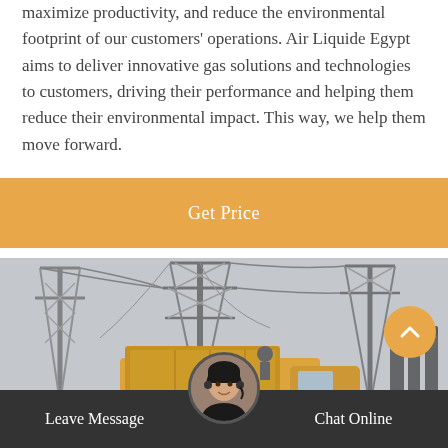maximize productivity, and reduce the environmental footprint of our customers' operations. Air Liquide Egypt aims to deliver innovative gas solutions and technologies to customers, driving their performance and helping them reduce their environmental impact. This way, we help them move forward.
[Figure (other): Orange button labeled 'Get Price' on an orange/amber background banner]
[Figure (photo): A yellow utility truck parked at an electrical substation with large transmission towers and power lines in a grey overcast sky]
[Figure (other): Dark bottom bar with 'Leave Message' on left, 'Chat Online' on right, and a customer service agent avatar in the center. An orange scroll-to-top button on the right side.]